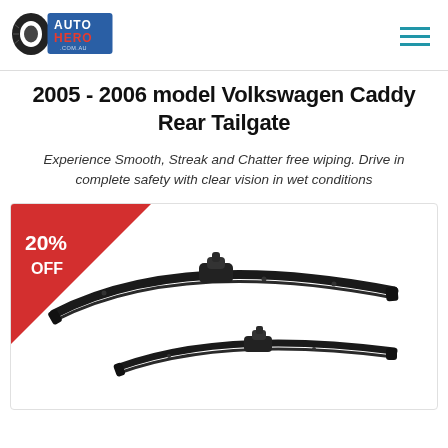Auto Hero .com.au
2005 - 2006 model Volkswagen Caddy Rear Tailgate
Experience Smooth, Streak and Chatter free wiping. Drive in complete safety with clear vision in wet conditions
[Figure (photo): Two curved flat wiper blades shown against white background, with a red triangular 20% OFF badge in the top-left corner of the product image frame.]